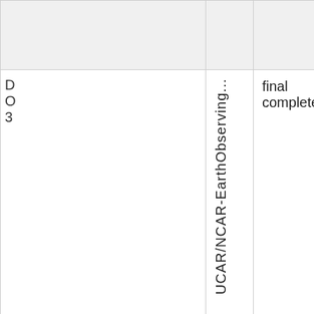|  | UCAR/NCAR-EarthObserving... | final completed |
| --- | --- | --- |
| D
O
3 | UCAR/NCAR-EarthObserving... | final completed |